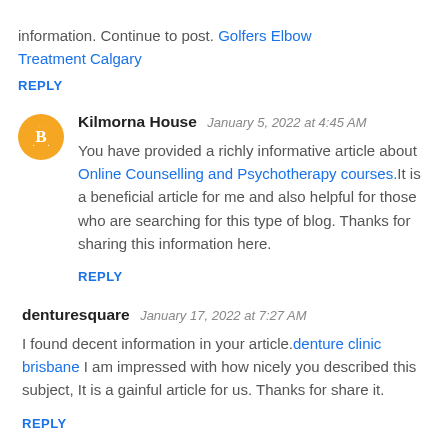information. Continue to post. Golfers Elbow Treatment Calgary
REPLY
Kilmorna House  January 5, 2022 at 4:45 AM
You have provided a richly informative article about Online Counselling and Psychotherapy courses.It is a beneficial article for me and also helpful for those who are searching for this type of blog. Thanks for sharing this information here.
REPLY
denturesquare  January 17, 2022 at 7:27 AM
I found decent information in your article.denture clinic brisbane I am impressed with how nicely you described this subject, It is a gainful article for us. Thanks for share it.
REPLY